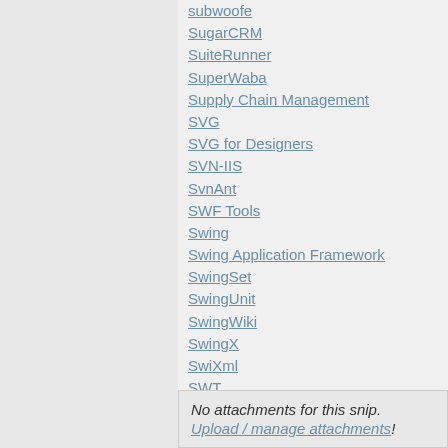subwoofe
SugarCRM
SuiteRunner
SuperWaba
Supply Chain Management
SVG
SVG for Designers
SVN-IIS
SvnAnt
SWF Tools
Swing
Swing Application Framework
SwingSet
SwingUnit
SwingWiki
SwingX
SwiXml
SWT
SWT Fox
SWTJasperViewer
Sync4j
Synchrony Integrator
SyncML
Synthetica
No attachments for this snip. Upload / manage attachments!